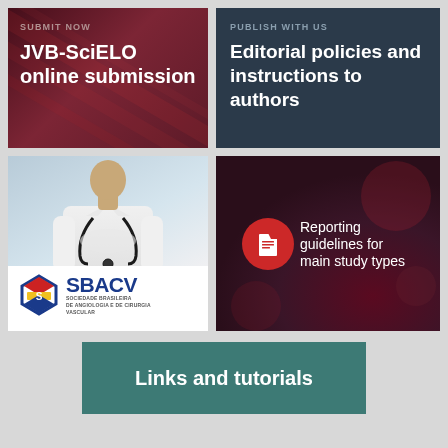[Figure (infographic): Dark red/burgundy banner with diagonal line texture. Small label 'SUBMIT NOW' above bold white text 'JVB-SciELO online submission']
[Figure (infographic): Dark navy blue banner. Small label 'PUBLISH WITH US' above bold white text 'Editorial policies and instructions to authors']
[Figure (infographic): White card showing a doctor in white coat with stethoscope on top half, and the SBACV logo (Sociedade Brasileira de Angiologia e de Cirurgia Vascular) on the bottom half]
[Figure (infographic): Dark burgundy/wine colored banner with a red circle icon containing a document symbol, and white text 'Reporting guidelines for main study types']
[Figure (infographic): Teal/green rectangle button with bold white text 'Links and tutorials']